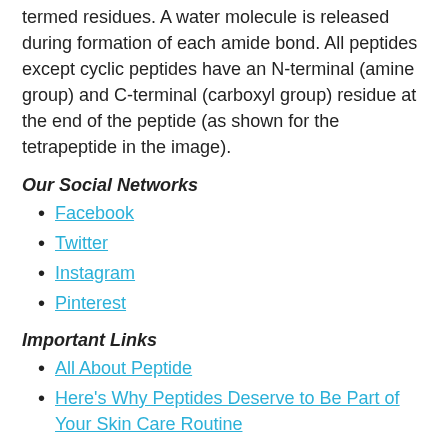termed residues. A water molecule is released during formation of each amide bond. All peptides except cyclic peptides have an N-terminal (amine group) and C-terminal (carboxyl group) residue at the end of the peptide (as shown for the tetrapeptide in the image).
Our Social Networks
Facebook
Twitter
Instagram
Pinterest
Important Links
All About Peptide
Here's Why Peptides Deserve to Be Part of Your Skin Care Routine
Tagged what peptides are best for skin